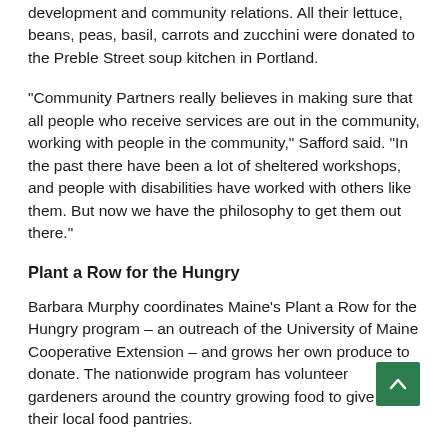development and community relations. All their lettuce, beans, peas, basil, carrots and zucchini were donated to the Preble Street soup kitchen in Portland.
“Community Partners really believes in making sure that all people who receive services are out in the community, working with people in the community,” Safford said. “In the past there have been a lot of sheltered workshops, and people with disabilities have worked with others like them. But now we have the philosophy to get them out there.”
Plant a Row for the Hungry
Barbara Murphy coordinates Maine’s Plant a Row for the Hungry program – an outreach of the University of Maine Cooperative Extension – and grows her own produce to donate. The nationwide program has volunteer gardeners around the country growing food to give to their local food pantries.